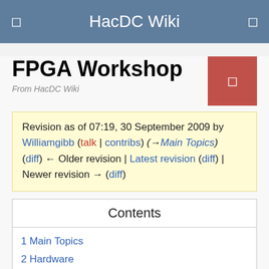HacDC Wiki
FPGA Workshop
From HacDC Wiki
Revision as of 07:19, 30 September 2009 by Williamgibb (talk | contribs) (→Main Topics)
(diff) ← Older revision | Latest revision (diff) | Newer revision → (diff)
Contents
1 Main Topics
2 Hardware
3 Tools
3.1 Verilog Simulation and Waveform Viewing